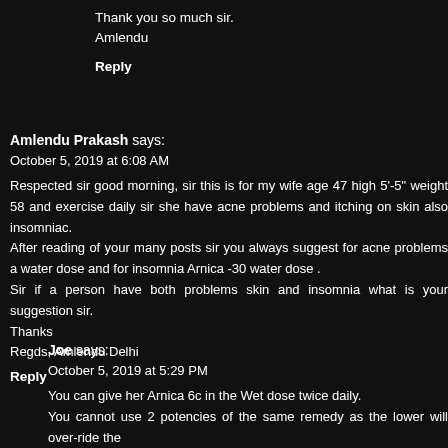Thank you so much sir.
Amlendu
Reply
Amlendu Prakash says:
October 5, 2019 at 6:08 AM
Respected sir good morning, sir this is for my wife age 47 high 5'-5" weight 58 and exercise daily sir she have acne problems and itching on skin also insomniac. After reading of your many posts sir you always suggest for acne problems a water dose and for insomnia Arnica -30 water dose .
Sir if a person have both problems skin and insomnia what is your suggestion sir.
Thanks
Regds, Amlendu Delhi
Reply
Joe says:
October 5, 2019 at 5:29 PM
You can give her Arnica 6c in the Wet dose twice daily.
You cannot use 2 potencies of the same remedy as the lower will over-ride the
Arnica 6c will look after both her Acne and Insomnia.
She can apply the remedy water directly on her face where she presents th and dry skin.
Reply